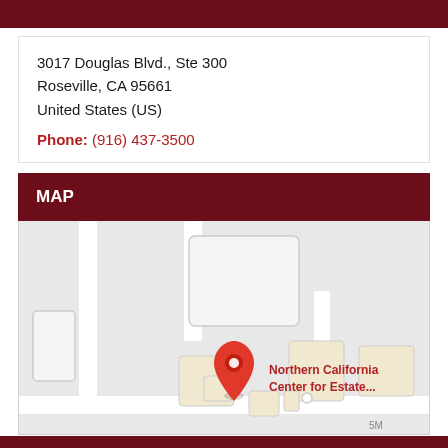3017 Douglas Blvd., Ste 300
Roseville, CA 95661
United States (US)
Phone: (916) 437-3500
MAP
[Figure (map): Google map showing pin location for Northern California Center for Estate... at 3017 Douglas Blvd., Ste 300, Roseville, CA 95661]